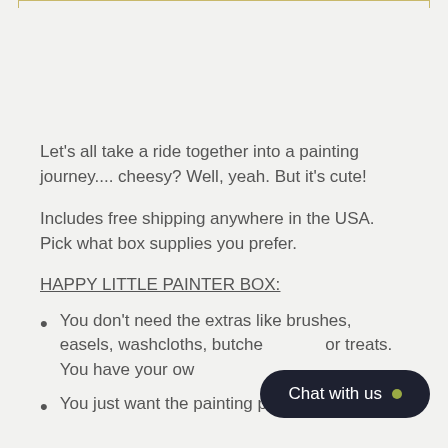Let's all take a ride together into a painting journey.... cheesy? Well, yeah. But it's cute!
Includes free shipping anywhere in the USA. Pick what box supplies you prefer.
HAPPY LITTLE PAINTER BOX:
You don't need the extras like brushes, easels, washcloths, butche[r paper], or treats. You have your ow[n]
You just want the painting project (pre-